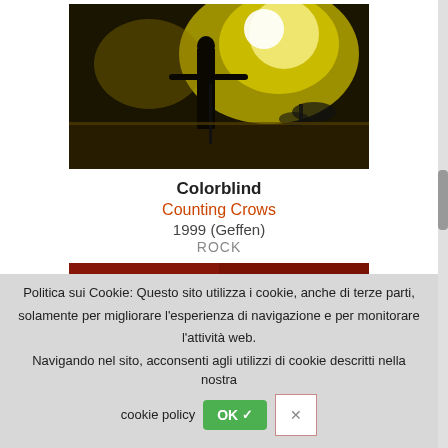[Figure (photo): Concert photo showing silhouette of performer on stage with bright yellow/white stage lights in background, drum kit visible]
Colorblind
Counting Crows
1999 (Geffen)
ROCK
[Figure (photo): Album cover for 'Lions - No Generation' showing red-toned image of figures with bold white text LIONS and smaller text NO GENERATION]
Politica sui Cookie: Questo sito utilizza i cookie, anche di terze parti, solamente per migliorare l'esperienza di navigazione e per monitorare l'attività web.
Navigando nel sito, acconsenti agli utilizzi di cookie descritti nella nostra cookie policy  OK✓